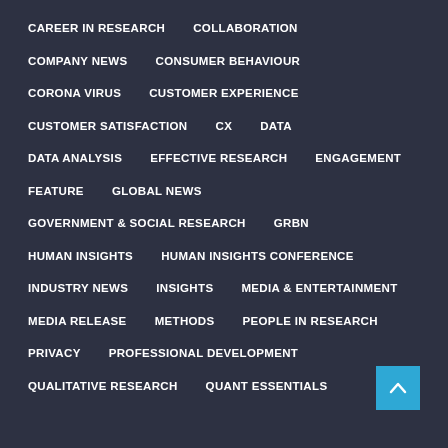CAREER IN RESEARCH
COLLABORATION
COMPANY NEWS
CONSUMER BEHAVIOUR
CORONA VIRUS
CUSTOMER EXPERIENCE
CUSTOMER SATISFACTION
CX
DATA
DATA ANALYSIS
EFFECTIVE RESEARCH
ENGAGEMENT
FEATURE
GLOBAL NEWS
GOVERNMENT & SOCIAL RESEARCH
GRBN
HUMAN INSIGHTS
HUMAN INSIGHTS CONFERENCE
INDUSTRY NEWS
INSIGHTS
MEDIA & ENTERTAINMENT
MEDIA RELEASE
METHODS
PEOPLE IN RESEARCH
PRIVACY
PROFESSIONAL DEVELOPMENT
QUALITATIVE RESEARCH
QUANT ESSENTIALS